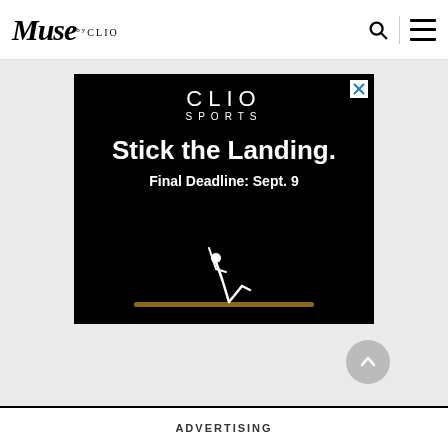Muse by CLIO
[Figure (advertisement): CLIO Sports advertisement with black background. Shows 'CLIO SPORTS' header text, headline 'Stick the Landing.', subheadline 'Final Deadline: Sept. 9', and a gymnast silhouette on a balance beam at the bottom. Close (X) button in top-right corner.]
ADVERTISING